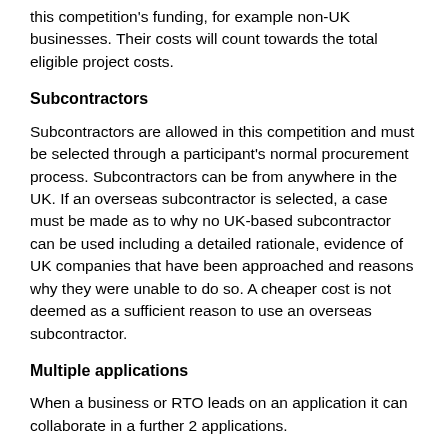this competition's funding, for example non-UK businesses. Their costs will count towards the total eligible project costs.
Subcontractors
Subcontractors are allowed in this competition and must be selected through a participant's normal procurement process. Subcontractors can be from anywhere in the UK. If an overseas subcontractor is selected, a case must be made as to why no UK-based subcontractor can be used including a detailed rationale, evidence of UK companies that have been approached and reasons why they were unable to do so. A cheaper cost is not deemed as a sufficient reason to use an overseas subcontractor.
Multiple applications
When a business or RTO leads on an application it can collaborate in a further 2 applications.
If a business is not leading any application, it can collaborate in up to 3 applications.
If an RTO is not leading any application, it can collaborate in